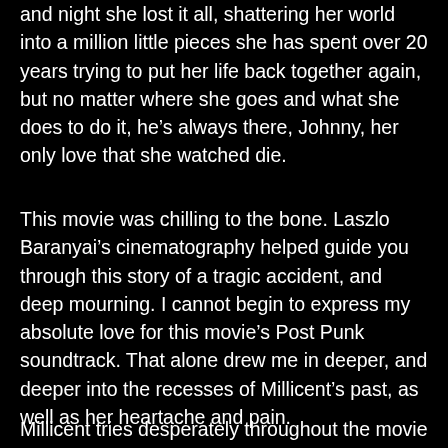and night she lost it all, shattering her world into a million little pieces she has spent over 20 years trying to put her life back together again, but no matter where she goes and what she does to do it, he’s always there, Johnny, her only love that she watched die.
This movie was chilling to the bone. Laszlo Baranyai’s cinematography helped guide you through this story of a tragic accident, and deep mourning. I cannot begin to express my absolute love for this movie’s Post Punk soundtrack. That alone drew me in deeper, and deeper into the recesses of Millicent’s past, as well as her heartache and pain.
Millicent tries desperately throughout the movie to